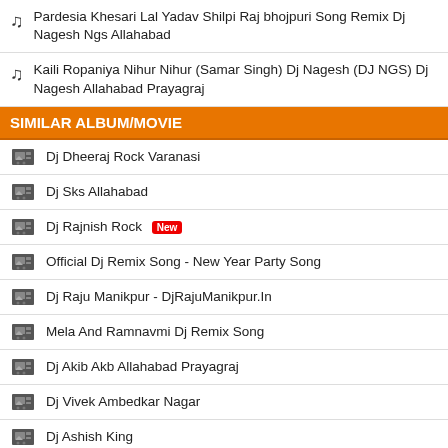♫ Pardesia Khesari Lal Yadav Shilpi Raj bhojpuri Song Remix Dj Nagesh Ngs Allahabad
♫ Kaili Ropaniya Nihur Nihur (Samar Singh) Dj Nagesh (DJ NGS) Dj Nagesh Allahabad Prayagraj
SIMILAR ALBUM/MOVIE
Dj Dheeraj Rock Varanasi
Dj Sks Allahabad
Dj Rajnish Rock New
Official Dj Remix Song - New Year Party Song
Dj Raju Manikpur - DjRajuManikpur.In
Mela And Ramnavmi Dj Remix Song
Dj Akib Akb Allahabad Prayagraj
Dj Vivek Ambedkar Nagar
Dj Ashish King
Dj Nkm Nitin Allahabad Prayagraj